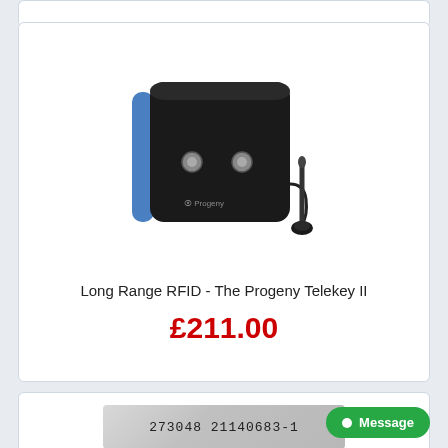[Figure (photo): Photo of the Progeny Telekey II RFID reader device — a black square unit with blue sides, two circular indicators on the front, and an external antenna with a base, branded Progeny.]
Long Range RFID - The Progeny Telekey II
£211.00
[Figure (photo): Photo of an RFID card/tag with the printed text: 273048 21140683-1]
Message